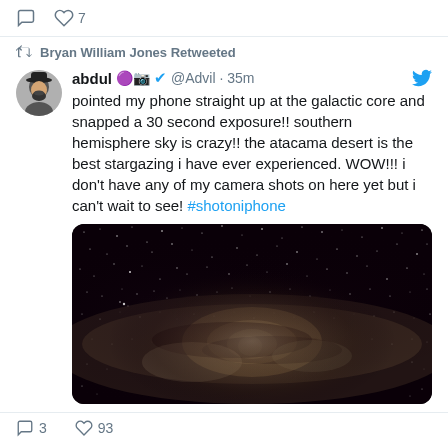♡ 7
Bryan William Jones Retweeted
abdul 🔮📷✔ @Advil · 35m
pointed my phone straight up at the galactic core and snapped a 30 second exposure!! southern hemisphere sky is crazy!! the atacama desert is the best stargazing i have ever experienced. WOW!!! i don't have any of my camera shots on here yet but i can't wait to see! #shotoniphone
[Figure (photo): Photograph of the Milky Way galactic core taken with a phone camera at the Atacama Desert, showing stars and the galactic center against a dark night sky.]
3  93